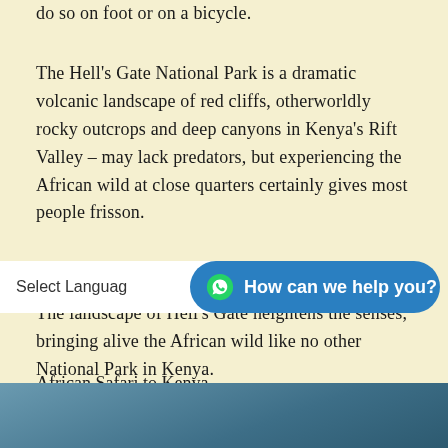do so on foot or on a bicycle.
The Hell's Gate National Park is a dramatic volcanic landscape of red cliffs, otherworldly rocky outcrops and deep canyons in Kenya's Rift Valley – may lack predators, but experiencing the African wild at close quarters certainly gives most people frisson.
The landscape of Hell's Gate heightens the senses, bringing alive the African wild like no other National Park in Kenya.
African Safari to Kenya
L
[Figure (screenshot): UI overlay with 'Select Language' dropdown on the left and a blue WhatsApp button reading 'How can we help you?' on the right]
[Figure (photo): Partial photo visible at the bottom of the page, appears to be an outdoor/safari scene]